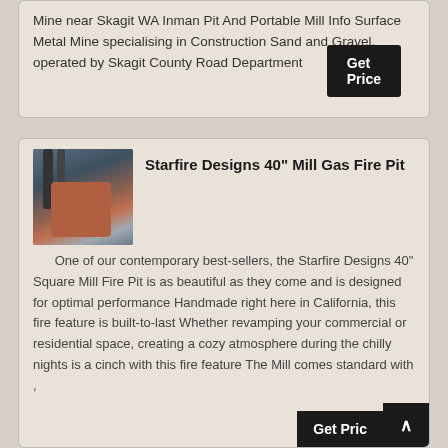Mine near Skagit WA Inman Pit And Portable Mill Info Surface Metal Mine specialising in Construction Sand and Gravel, operated by Skagit County Road Department
Get Price
[Figure (photo): Industrial mill or mining equipment with pipes and a red/orange cylindrical body]
Starfire Designs 40" Mill Gas Fire Pit
One of our contemporary best-sellers, the Starfire Designs 40" Square Mill Fire Pit is as beautiful as they come and is designed for optimal performance Handmade right here in California, this fire feature is built-to-last Whether revamping your commercial or residential space, creating a cozy atmosphere during the chilly nights is a cinch with this fire feature The Mill comes standard with ,
Get Price